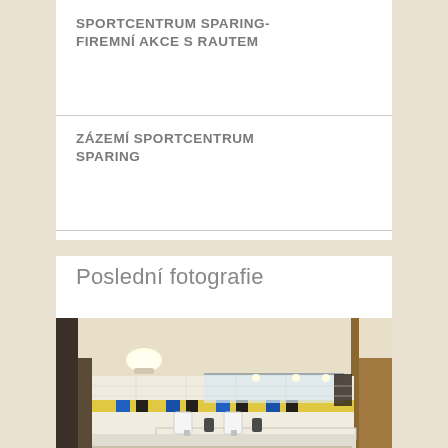SPORTCENTRUM SPARING- FIREMNÍ AKCE S RAUTEM
ZÁZEMÍ SPORTCENTRUM SPARING
Poslední fotografie
[Figure (photo): Interior photo of a sports centre bathroom/changing room with white tiles, a colorful yellow-blue-black tile border strip, ceiling lights, sinks along a counter, paper towel dispensers, and dark partitions/lockers visible on the left and right.]